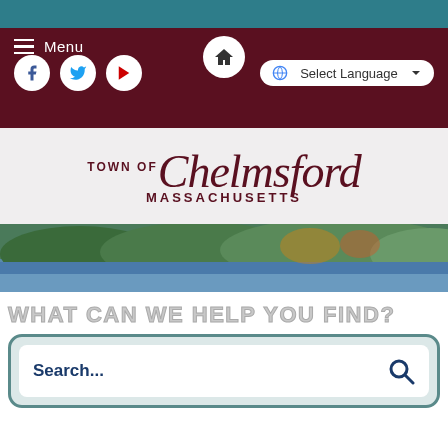[Figure (screenshot): Teal top bar of website]
Menu
[Figure (logo): Town of Chelmsford Massachusetts official logo with social media icons and language selector]
[Figure (photo): Scenic lake and forest photo banner for Town of Chelmsford website]
WHAT CAN WE HELP YOU FIND?
[Figure (screenshot): Search box with Search... placeholder text and magnifying glass icon]